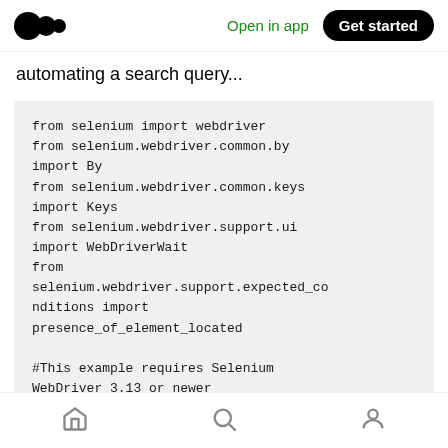Open in app  Get started
automating a search query...
from selenium import webdriver
from selenium.webdriver.common.by import By
from selenium.webdriver.common.keys import Keys
from selenium.webdriver.support.ui import WebDriverWait
from selenium.webdriver.support.expected_conditions import presence_of_element_located

#This example requires Selenium WebDriver 3.13 or newer
with webdriver.Firefox() as driver...
Home  Search  Profile